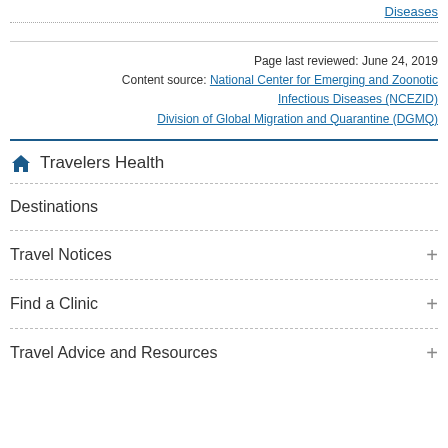Diseases
Page last reviewed: June 24, 2019
Content source: National Center for Emerging and Zoonotic Infectious Diseases (NCEZID) Division of Global Migration and Quarantine (DGMQ)
Travelers Health
Destinations
Travel Notices
Find a Clinic
Travel Advice and Resources